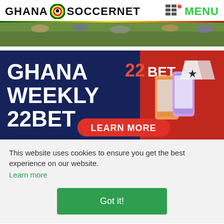GHANA SOCCERNET MENU
[Figure (photo): Hero image strip showing feet on grass football field]
[Figure (infographic): 22BET Ghana Weekly 22BET advertisement banner with LEARN MORE button, smartphones, jerseys on dark blue and red background]
This website uses cookies to ensure you get the best experience on our website. Learn more
Got it!